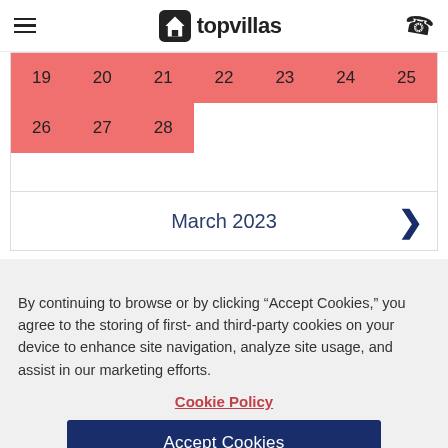topvillas
[Figure (other): Calendar showing dates 19–28 highlighted in red/salmon color, with dates 22–25 on first row and 26–28 on second row also highlighted. Dates after 28 are empty white cells.]
March 2023
By continuing to browse or by clicking “Accept Cookies,” you agree to the storing of first- and third-party cookies on your device to enhance site navigation, analyze site usage, and assist in our marketing efforts.
Cookie Policy
Accept Cookies